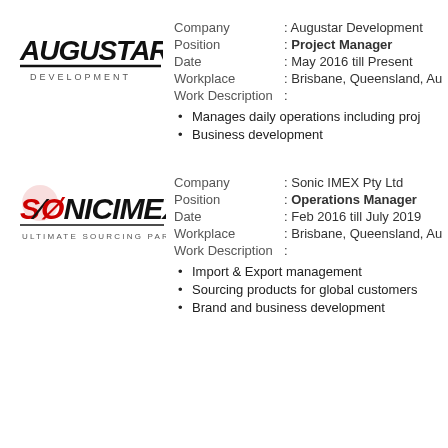[Figure (logo): Augustar Development logo with stylized text and horizontal bar]
Company : Augustar Development
Position : Project Manager
Date : May 2016 till Present
Workplace : Brisbane, Queensland, Au
Work Description :
Manages daily operations including proj
Business development
[Figure (logo): Sonic IMEX Ultimate Sourcing Partner logo]
Company : Sonic IMEX Pty Ltd
Position : Operations Manager
Date : Feb 2016 till July 2019
Workplace : Brisbane, Queensland, Au
Work Description :
Import & Export management
Sourcing products for global customers
Brand and business development